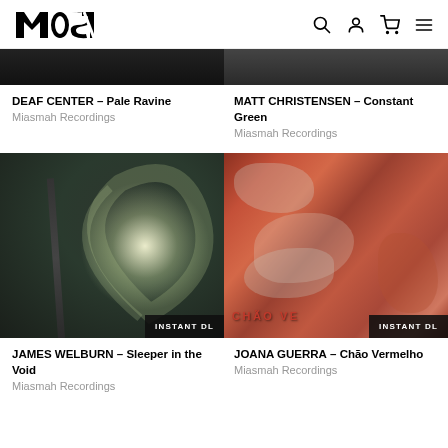MOST (logo) — navigation icons: search, account, cart, menu
[Figure (photo): Partial top of album art for Deaf Center – Pale Ravine, dark monochrome image cropped]
[Figure (photo): Partial top of album art for Matt Christensen – Constant Green, dark monochrome image cropped]
DEAF CENTER – Pale Ravine
Miasmah Recordings
MATT CHRISTENSEN – Constant Green
Miasmah Recordings
[Figure (photo): Album art for James Welburn – Sleeper in the Void. Dark moody image of a street lamp at night with a glowing circular light halo/swirl. Text overlay: INSTANT DL]
[Figure (photo): Album art for Joana Guerra – Chão Vermelho. Close-up of rust-red earthy rock/terrain texture. Text overlay: CHÃO VE... / INSTANT DL]
JAMES WELBURN – Sleeper in the Void
Miasmah Recordings
JOANA GUERRA – Chão Vermelho
Miasmah Recordings